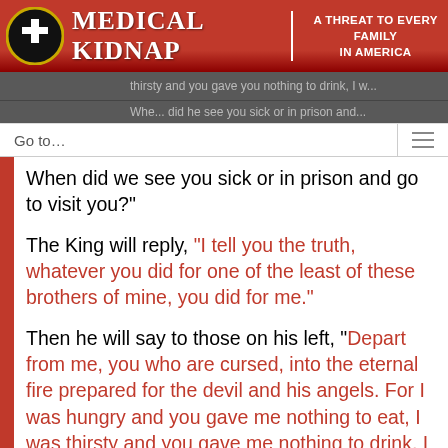MEDICAL KIDNAP | A THREAT TO EVERY FAMILY IN AMERICA
thirsty and you gave nothing to drink, I was...
When did we see you sick or in prison and go to visit you?"
The King will reply, “I tell you the truth, whatever you did for one of the least of these brothers of mine, you did for me.”
Then he will say to those on his left, “Depart from me, you who are cursed, into the eternal fire prepared for the devil and his angels. For I was hungry and you gave me nothing to eat, I was thirsty and you gave me nothing to drink, I was a stranger and you did not invite me in, I needed clothes and you did not clothe me, I was sick and in prison and you did not look after